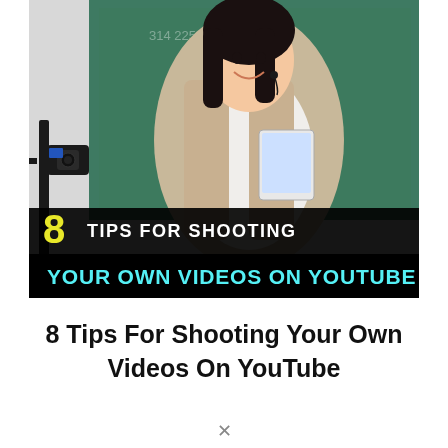[Figure (photo): A smiling woman holding a tablet stands in front of a green chalkboard. A camera on a tripod is visible in the foreground. A banner overlay reads '8 TIPS FOR SHOOTING YOUR OWN VIDEOS ON YOUTUBE' with the 8 in yellow, tips text in white, and the YouTube line in cyan on black.]
8 Tips For Shooting Your Own Videos On YouTube